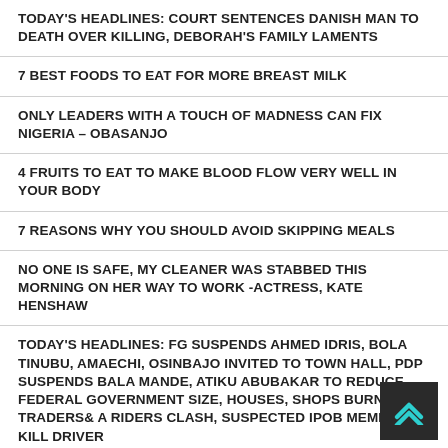TODAY'S HEADLINES: COURT SENTENCES DANISH MAN TO DEATH OVER KILLING, DEBORAH'S FAMILY LAMENTS
7 BEST FOODS TO EAT FOR MORE BREAST MILK
ONLY LEADERS WITH A TOUCH OF MADNESS CAN FIX NIGERIA – OBASANJO
4 FRUITS TO EAT TO MAKE BLOOD FLOW VERY WELL IN YOUR BODY
7 REASONS WHY YOU SHOULD AVOID SKIPPING MEALS
NO ONE IS SAFE, MY CLEANER WAS STABBED THIS MORNING ON HER WAY TO WORK -ACTRESS, KATE HENSHAW
TODAY'S HEADLINES: FG SUSPENDS AHMED IDRIS, BOLA TINUBU, AMAECHI, OSINBAJO INVITED TO TOWN HALL, PDP SUSPENDS BALA MANDE, ATIKU ABUBAKAR TO REDUCE FEDERAL GOVERNMENT SIZE, HOUSES, SHOPS BURNT AS TRADERS & RIDERS CLASH, SUSPECTED IPOB MEMBERS KILL DRIVER